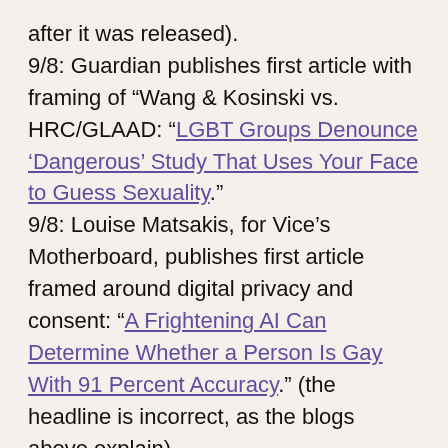after it was released).
9/8: Guardian publishes first article with framing of “Wang & Kosinski vs. HRC/GLAAD: “LGBT Groups Denounce ‘Dangerous’ Study That Uses Your Face to Guess Sexuality.”
9/8: Louise Matsakis, for Vice’s Motherboard, publishes first article framed around digital privacy and consent: “A Frightening AI Can Determine Whether a Person Is Gay With 91 Percent Accuracy.” (the headline is incorrect, as the blogs above explain)
9/9: I publish on my blog: “Artificial Intelligence Discovers Gayface. Sigh.”
9/9: Sydney Fussell, filed to “Can’t Keep a Straight Face” on Gizmodo, publishes